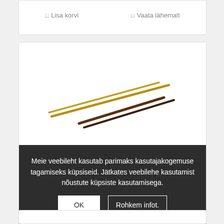□ Lisa korvi   □ Vaata lähemalt
[Figure (photo): Product image area showing a golden/brown item (chopsticks or similar utensil) on white background]
Meie veebileht kasutab parimaks kasutajakogemuse tagamiseks küpsiseid. Jätkates veebilehe kasutamist nõustute küpsiste kasutamisega.
OK
Rohkem infot.